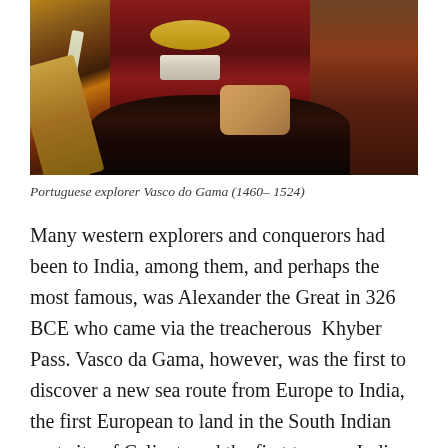[Figure (photo): Painting of Portuguese explorer Vasco da Gama holding a sword, wearing a red robe with gold collar and lace, with a landscape background]
Portuguese explorer Vasco do Gama (1460– 1524)
Many western explorers and conquerors had been to India, among them, and perhaps the most famous, was Alexander the Great in 326 BCE who came via the treacherous  Khyber Pass. Vasco da Gama, however, was the first to discover a new sea route from Europe to India, the first European to land in the South Indian port city of Calicut, and the first to open India permanently to colonization by the west. With all the wealth his first voyage created for the King of Portugal, he was not done.